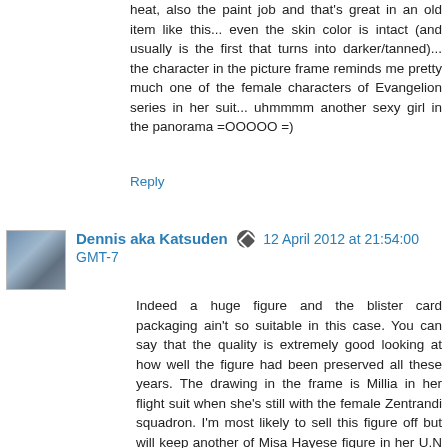heat, also the paint job and that's great in an old item like this... even the skin color is intact (and usually is the first that turns into darker/tanned)... the character in the picture frame reminds me pretty much one of the female characters of Evangelion series in her suit... uhmmmm another sexy girl in the panorama =OOOOO =)
Reply
Dennis aka Katsuden  12 April 2012 at 21:54:00 GMT-7
Indeed a huge figure and the blister card packaging ain't so suitable in this case. You can say that the quality is extremely good looking at how well the figure had been preserved all these years. The drawing in the frame is Millia in her flight suit when she's still with the female Zentrandi squadron. I'm most likely to sell this figure off but will keep another of Misa Hayese figure in her U.N Spacy uniform. Will blog about that in future. Thanx for all the support all this well pal... Appreciate that...
Reply